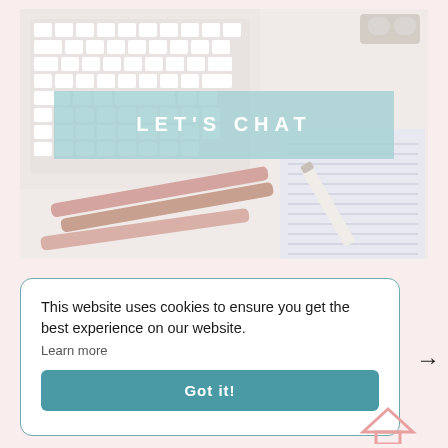[Figure (photo): Desk flatlay with white keyboard, rose gold pens, notebook, and glasses on a light background, with a teal/light blue banner overlay reading LET'S CHAT in white bold uppercase letters]
This website uses cookies to ensure you get the best experience on our website.
Learn more
Got it!